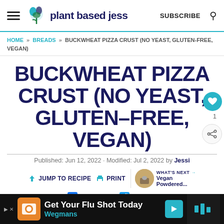plant based jess | SUBSCRIBE
HOME » BREADS » BUCKWHEAT PIZZA CRUST (NO YEAST, GLUTEN-FREE, VEGAN)
BUCKWHEAT PIZZA CRUST (NO YEAST, GLUTEN-FREE, VEGAN)
Published: Jun 12, 2022 · Modified: Jul 2, 2022 by Jessi
↓ JUMP TO RECIPE   🖨 PRINT   WHAT'S NEXT → Vegan Powdered...
SHARE   TWEET
[Figure (screenshot): Advertisement banner: Get Your Flu Shot Today - Wegmans]